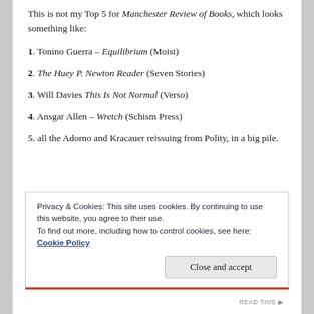This is not my Top 5 for Manchester Review of Books, which looks something like:
1. Tonino Guerra – Equilibrium (Moist)
2. The Huey P. Newton Reader (Seven Stories)
3. Will Davies This Is Not Normal (Verso)
4. Ansgar Allen – Wretch (Schism Press)
5. all the Adorno and Kracauer reissuing from Polity, in a big pile.
Privacy & Cookies: This site uses cookies. By continuing to use this website, you agree to their use.
To find out more, including how to control cookies, see here: Cookie Policy